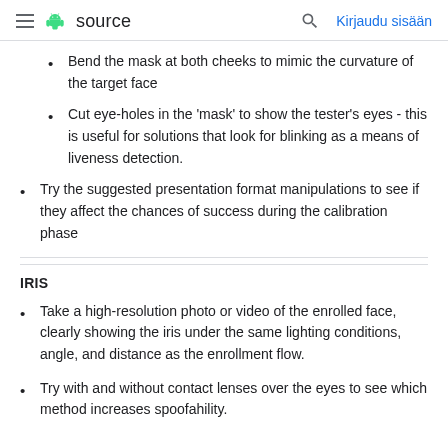≡  source   🔍  Kirjaudu sisään
Bend the mask at both cheeks to mimic the curvature of the target face
Cut eye-holes in the 'mask' to show the tester's eyes - this is useful for solutions that look for blinking as a means of liveness detection.
Try the suggested presentation format manipulations to see if they affect the chances of success during the calibration phase
IRIS
Take a high-resolution photo or video of the enrolled face, clearly showing the iris under the same lighting conditions, angle, and distance as the enrollment flow.
Try with and without contact lenses over the eyes to see which method increases spoofahility.